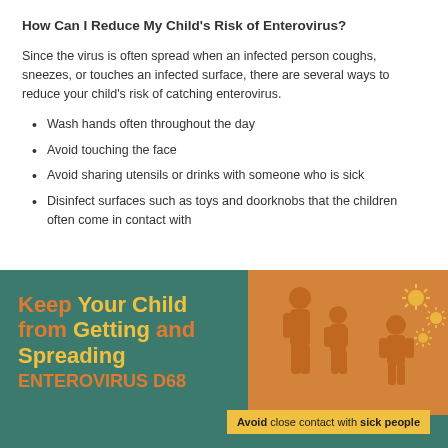How Can I Reduce My Child's Risk of Enterovirus?
Since the virus is often spread when an infected person coughs, sneezes, or touches an infected surface, there are several ways to reduce your child's risk of catching enterovirus.
Wash hands often throughout the day
Avoid touching the face
Avoid sharing utensils or drinks with someone who is sick
Disinfect surfaces such as toys and doorknobs that the children often come in contact with
[Figure (infographic): Infographic with teal background showing 'Keep Your Child from Getting and Spreading ENTEROVIRUS D68' text in orange and yellow. Right side has an orange rectangle with silhouettes of adults and child with virus particles, and a yellow banner reading 'Avoid close contact with sick people'.]